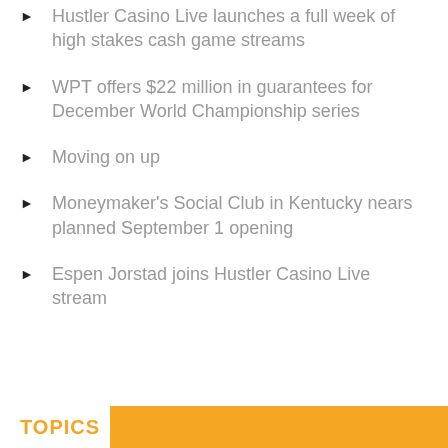Hustler Casino Live launches a full week of high stakes cash game streams
WPT offers $22 million in guarantees for December World Championship series
Moving on up
Moneymaker's Social Club in Kentucky nears planned September 1 opening
Espen Jorstad joins Hustler Casino Live stream
TOPICS